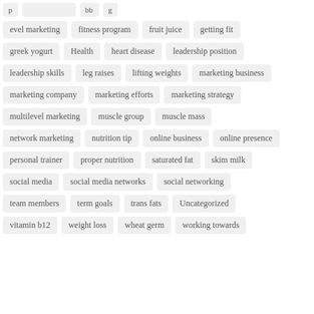evel marketing
fitness program
fruit juice
getting fit
greek yogurt
Health
heart disease
leadership position
leadership skills
leg raises
lifting weights
marketing business
marketing company
marketing efforts
marketing strategy
multilevel marketing
muscle group
muscle mass
network marketing
nutrition tip
online business
online presence
personal trainer
proper nutrition
saturated fat
skim milk
social media
social media networks
social networking
team members
term goals
trans fats
Uncategorized
vitamin b12
weight loss
wheat germ
working towards